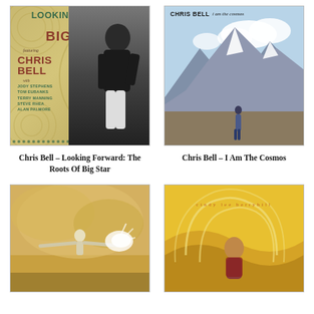[Figure (photo): Album cover: Looking Forward - The Roots Of Big Star, featuring Chris Bell with Jody Stephens, Tom Eubanks, Terry Manning, Steve Rhea, Alan Palmore. Shows a man sitting playing guitar in black and white, with decorative circular patterns on colored background.]
[Figure (photo): Album cover: Chris Bell - I Am The Cosmos. Shows a person standing in a mountain landscape with snow-capped peaks and blue sky.]
Chris Bell – Looking Forward: The Roots Of Big Star
Chris Bell – I Am The Cosmos
[Figure (photo): Album cover showing a figure with arms outstretched against a golden/cloudy sky background, white light emanating from hands.]
[Figure (photo): Album cover: Cindy Lee Berryhill. Shows a woman in patterned clothing surrounded by decorative fan/shell motifs with the artist name written across them.]